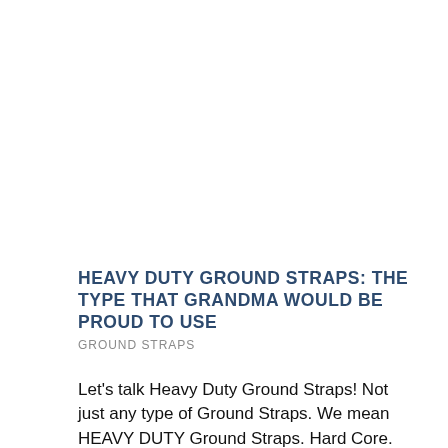HEAVY DUTY GROUND STRAPS: THE TYPE THAT GRANDMA WOULD BE PROUD TO USE
GROUND STRAPS
Let's talk Heavy Duty Ground Straps! Not just any type of Ground Straps. We mean HEAVY DUTY Ground Straps. Hard Core. Fierce. Down and Dirty. Rugged. Tough as Nails. Relentless. Tenacious. Climbing Mount Everest…..without any